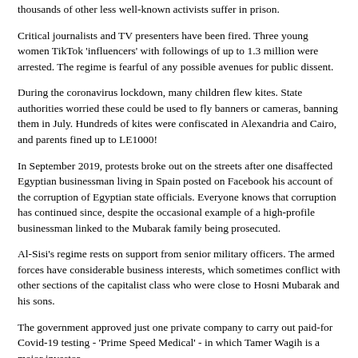thousands of other less well-known activists suffer in prison.
Critical journalists and TV presenters have been fired. Three young women TikTok 'influencers' with followings of up to 1.3 million were arrested. The regime is fearful of any possible avenues for public dissent.
During the coronavirus lockdown, many children flew kites. State authorities worried these could be used to fly banners or cameras, banning them in July. Hundreds of kites were confiscated in Alexandria and Cairo, and parents fined up to LE1000!
In September 2019, protests broke out on the streets after one disaffected Egyptian businessman living in Spain posted on Facebook his account of the corruption of Egyptian state officials. Everyone knows that corruption has continued since, despite the occasional example of a high-profile businessman linked to the Mubarak family being prosecuted.
Al-Sisi's regime rests on support from senior military officers. The armed forces have considerable business interests, which sometimes conflict with other sections of the capitalist class who were close to Hosni Mubarak and his sons.
The government approved just one private company to carry out paid-for Covid-19 testing - 'Prime Speed Medical' - in which Tamer Wagih is a major investor.
He was an executive of al-Sisi's 2014 election campaign and now chairs the university hospital council with links to the ministry of higher